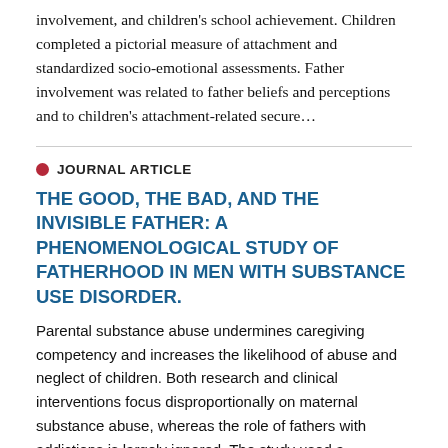involvement, and children's school achievement. Children completed a pictorial measure of attachment and standardized socio-emotional assessments. Father involvement was related to father beliefs and perceptions and to children's attachment-related secure…
JOURNAL ARTICLE
THE GOOD, THE BAD, AND THE INVISIBLE FATHER: A PHENOMENOLOGICAL STUDY OF FATHERHOOD IN MEN WITH SUBSTANCE USE DISORDER.
Parental substance abuse undermines caregiving competency and increases the likelihood of abuse and neglect of children. Both research and clinical interventions focus disproportionally on maternal substance abuse, whereas the role of fathers with addictions is largely ignored. The study used a qualitative design to investigate fatherhood from the perspective of men with a substance addiction. Eight fathers